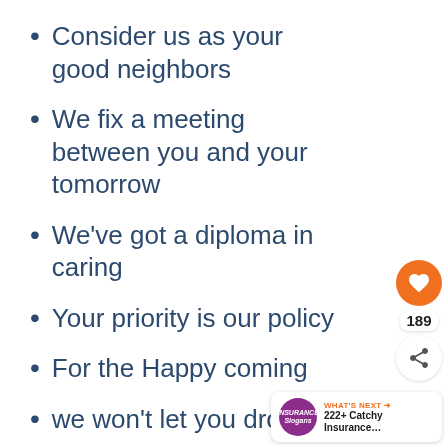Consider us as your good neighbors
We fix a meeting between you and your tomorrow
We’ve got a diploma in caring
Your priority is our policy
For the Happy coming
we won’t let you drown